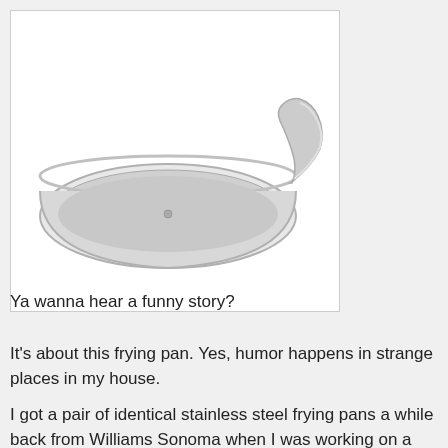[Figure (photo): A stainless steel frying pan with a long metal handle, photographed on a white background.]
Ya wanna hear a funny story?
It's about this frying pan. Yes, humor happens in strange places in my house.
I got a pair of identical stainless steel frying pans a while back from Williams Sonoma when I was working on a promotion for them. I kept one and set the other one aside. I figured that I'd do a giveaway eventually.
I wasn't really doing a lot of giveaways on my recipe blog, so the pan got shuffled from one place to another. But when I started this blog, I thought, gee, I might as well put the nice frying pan up for grabs.